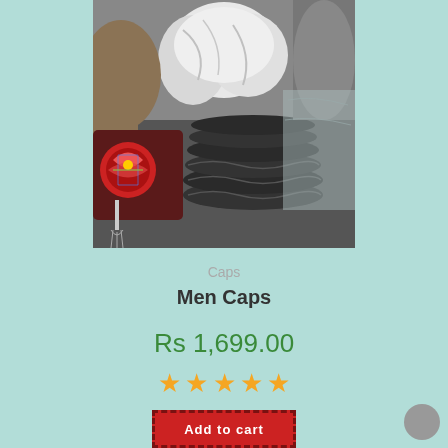[Figure (photo): A collection of various caps/hats including a colorful embroidered cap, white fabric caps, dark knitted caps stacked, and other hats in grayscale tones]
Caps
Men Caps
Rs 1,699.00
[Figure (other): Four and a half gold star rating]
Add to cart